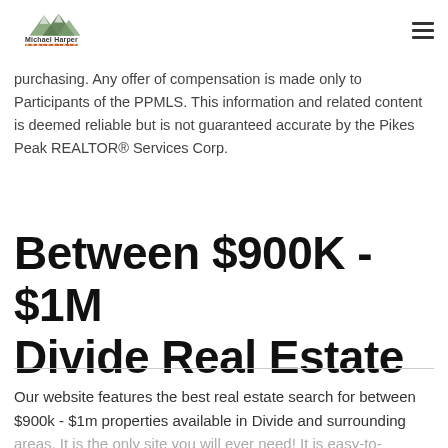Michael Harper Real Estate
this site is provided exclusively for consumers' personal, non-commercial use and may not be used for any purpose other than to identify prospective properties consumers may be interested in purchasing. Any offer of compensation is made only to Participants of the PPMLS. This information and related content is deemed reliable but is not guaranteed accurate by the Pikes Peak REALTOR® Services Corp.
Between $900K - $1M Divide Real Estate
Our website features the best real estate search for between $900k - $1m properties available in Divide and surrounding areas. It is the only site you will ever need! It is easy-to-use and updated by our team directly from the PPMLS.